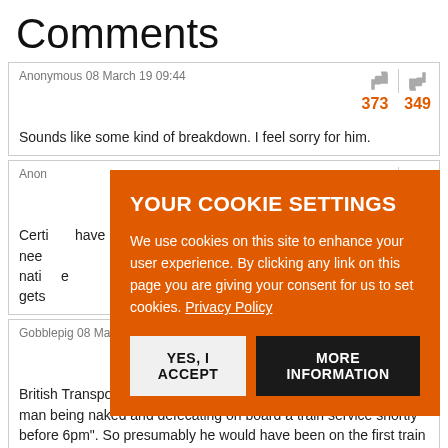Comments
Anonymous 08 March 19 09:44
373   349
Sounds like some kind of breakdown. I feel sorry for him.
Anon
852
Certi... have need... nati... e gets...
[Figure (screenshot): Cookie consent overlay with orange background, title YOUR COOKIE SETTINGS, body text about cookie usage with Privacy Policy link, and two buttons: YES, I ACCEPT and MORE INFORMATION]
Gobblepig 08 March 19 11:08
311   354
British Transport Police said the charge "relates to a report of a man being naked and defecating on board a train service shortly before 6pm". So presumably he would have been on the first train in or off from f...